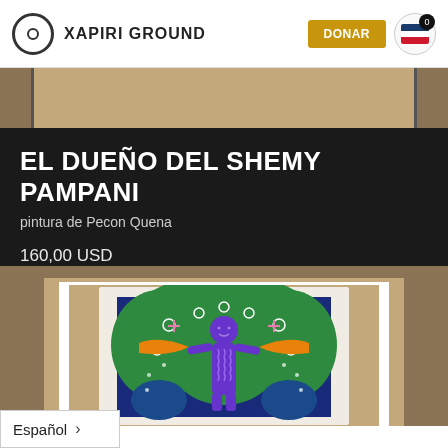XAPIRI GROUND | DONAR
[Figure (photo): Cropped top portion of painting on tan/kraft paper background]
EL DUEÑO DEL SHEMY PAMPANI
pintura de Pecon Quena
160,00 USD
[Figure (photo): Colorful indigenous painting on white-bordered fabric showing a purple human figure with green foliage background and orange bands, on kraft paper]
Español >